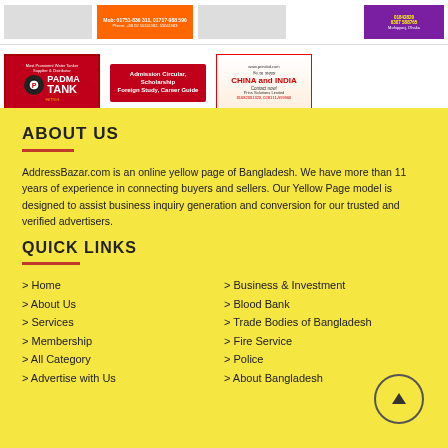[Figure (advertisement): Top row of banner advertisements including phone numbers, Padma Tank, Admission Circular, China and India study abroad, and a purple ad with phone numbers]
[Figure (advertisement): Second row of banner advertisements: Padma Tank red banner, Admission Circular/Scholarship/Foreign Study/Career Guide red banner, China and India contact banner]
ABOUT US
AddressBazar.com is an online yellow page of Bangladesh. We have more than 11 years of experience in connecting buyers and sellers. Our Yellow Page model is designed to assist business inquiry generation and conversion for our trusted and verified advertisers.
QUICK LINKS
> Home
> About Us
> Services
> Membership
> All Category
> Advertise with Us
> Business & Investment
> Blood Bank
> Trade Bodies of Bangladesh
> Fire Service
> Police
> About Bangladesh